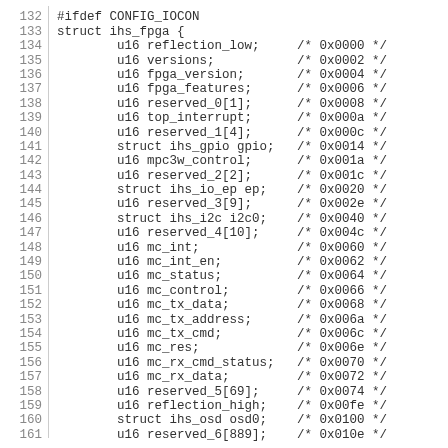132: #ifdef CONFIG_IOCON
133: struct ihs_fpga {
134:     u16 reflection_low;     /* 0x0000 */
135:     u16 versions;           /* 0x0002 */
136:     u16 fpga_version;       /* 0x0004 */
137:     u16 fpga_features;      /* 0x0006 */
138:     u16 reserved_0[1];      /* 0x0008 */
139:     u16 top_interrupt;      /* 0x000a */
140:     u16 reserved_1[4];      /* 0x000c */
141:     struct ihs_gpio gpio;   /* 0x0014 */
142:     u16 mpc3w_control;      /* 0x001a */
143:     u16 reserved_2[2];      /* 0x001c */
144:     struct ihs_io_ep ep;    /* 0x0020 */
145:     u16 reserved_3[9];      /* 0x002e */
146:     struct ihs_i2c i2c0;    /* 0x0040 */
147:     u16 reserved_4[10];     /* 0x004c */
148:     u16 mc_int;             /* 0x0060 */
149:     u16 mc_int_en;          /* 0x0062 */
150:     u16 mc_status;          /* 0x0064 */
151:     u16 mc_control;         /* 0x0066 */
152:     u16 mc_tx_data;         /* 0x0068 */
153:     u16 mc_tx_address;      /* 0x006a */
154:     u16 mc_tx_cmd;          /* 0x006c */
155:     u16 mc_res;             /* 0x006e */
156:     u16 mc_rx_cmd_status;   /* 0x0070 */
157:     u16 mc_rx_data;         /* 0x0072 */
158:     u16 reserved_5[69];     /* 0x0074 */
159:     u16 reflection_high;    /* 0x00fe */
160:     struct ihs_osd osd0;    /* 0x0100 */
161:     u16 reserved_6[889];    /* 0x010e */